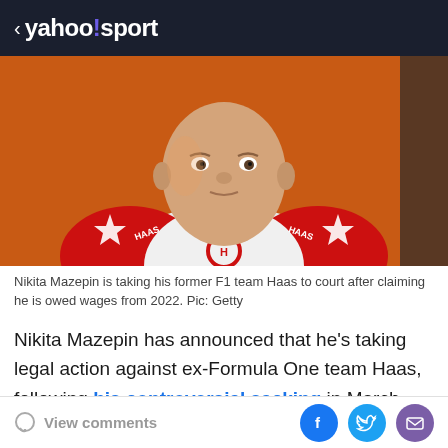< yahoo!sport
[Figure (photo): Portrait photo of Nikita Mazepin wearing a red and white Haas F1 racing suit with HAAS branding on the shoulders, against an orange background.]
Nikita Mazepin is taking his former F1 team Haas to court after claiming he is owed wages from 2022. Pic: Getty
Nikita Mazepin has announced that he's taking legal action against ex-Formula One team Haas, following his controversial sacking in March.
View comments